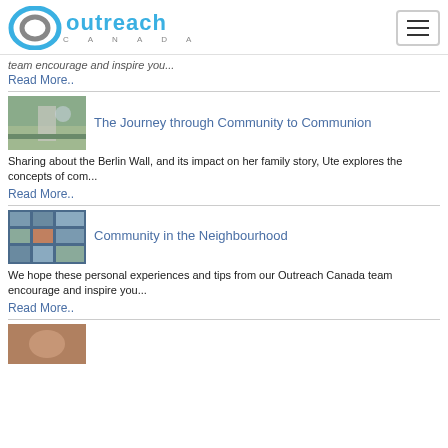Outreach Canada
team encourage and inspire you...
Read More..
The Journey through Community to Communion
Sharing about the Berlin Wall, and its impact on her family story, Ute explores the concepts of com...
Read More..
Community in the Neighbourhood
We hope these personal experiences and tips from our Outreach Canada team encourage and inspire you...
Read More..